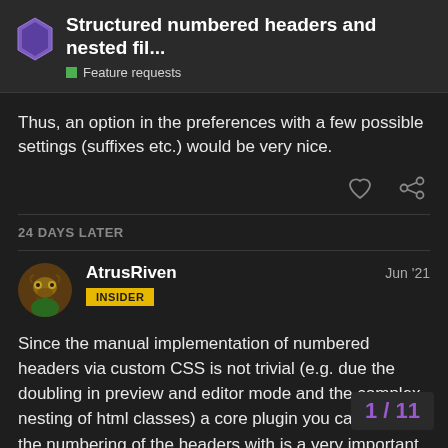Structured numbered headers and nested fil... | Feature requests
Thus, an option in the preferences with a few possible settings (suffixes etc.) would be very nice.
24 DAYS LATER
AtrusRiven  Jun '21  INSIDER
Since the manual implementation of numbered headers via custom CSS is not trivial (e.g. due the doubling in preview and editor mode and the complex nesting of html classes) a core plugin you can toggle the numbering of the headers with is a very important feature for working with structured notes. Is ther implementing this?
1 / 11